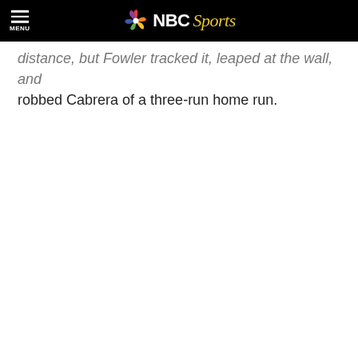NBC Sports
distance, but Fowler tracked it, leaped at the wall, and robbed Cabrera of a three-run home run.